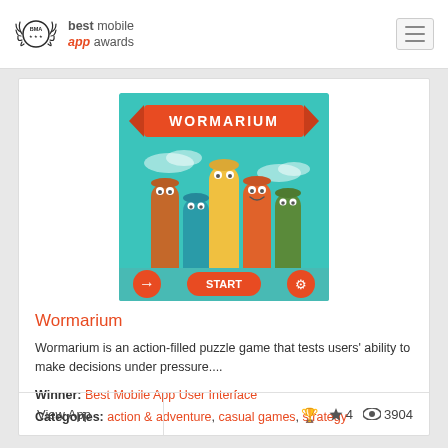best mobile app awards
[Figure (screenshot): Wormarium game screenshot showing colorful cartoon worms with a teal background, red banner with WORMARIUM text, and a red START button at the bottom]
Wormarium
Wormarium is an action-filled puzzle game that tests users' ability to make decisions under pressure....
Winner: Best Mobile App User Interface
Categories: action & adventure, casual games, strategy
View App  ★ 4  3904